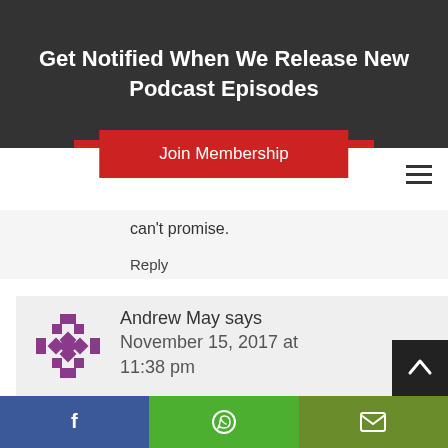Get Notified When We Release New Podcast Episodes
Join Membership
can't promise.
Reply
Andrew May says
November 15, 2017 at 11:38 pm
No worries if not, thanks either way!